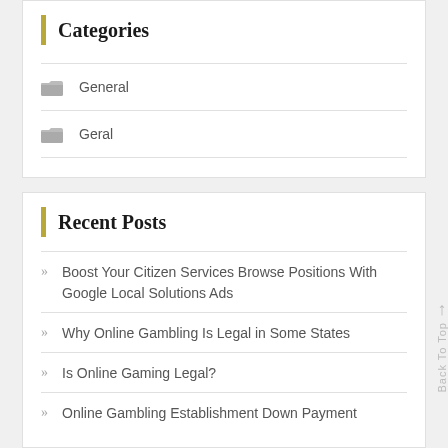Categories
General
Geral
Recent Posts
Boost Your Citizen Services Browse Positions With Google Local Solutions Ads
Why Online Gambling Is Legal in Some States
Is Online Gaming Legal?
Online Gambling Establishment Down Payment